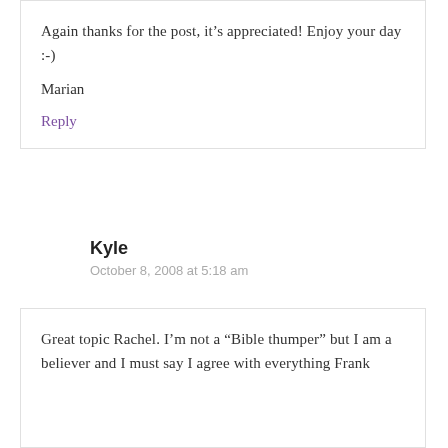Again thanks for the post, it's appreciated! Enjoy your day :-)
Marian
Reply
Kyle
October 8, 2008 at 5:18 am
Great topic Rachel. I'm not a “Bible thumper” but I am a believer and I must say I agree with everything Frank